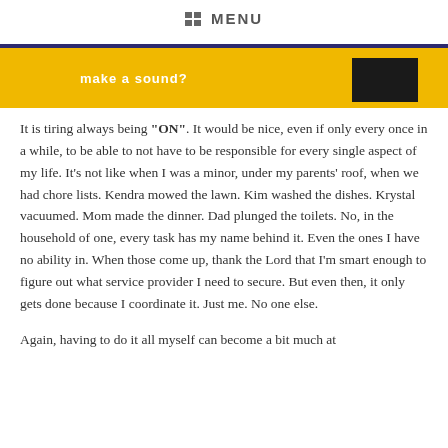MENU
[Figure (illustration): Yellow banner image with white text 'make a sound?' and a dark rectangular shape on the right side]
It is tiring always being "ON".  It would be nice, even if only every once in a while, to be able to not have to be responsible for every single aspect of my life.  It’s not like when I was a minor, under my parents’ roof, when we had chore lists.  Kendra mowed the lawn.  Kim washed the dishes.  Krystal vacuumed.  Mom made the dinner.  Dad plunged the toilets.  No, in the household of one, every task has my name behind it.  Even the ones I have no ability in.  When those come up, thank the Lord that I’m smart enough to figure out what service provider I need to secure.  But even then, it only gets done because I coordinate it.  Just me.  No one else.
Again, having to do it all myself can become a bit much at